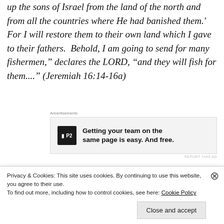up the sons of Israel from the land of the north and from all the countries where He had banished them.' For I will restore them to their own land which I gave to their fathers.  Behold, I am going to send for many fishermen," declares the LORD, "and they will fish for them...." (Jeremiah 16:14-16a)
[Figure (other): Advertisement for P2 - 'Getting your team on the same page is easy. And free.' with P2 logo icon]
Now was it just coincidence that a number of Jesus'
Privacy & Cookies: This site uses cookies. By continuing to use this website, you agree to their use.
To find out more, including how to control cookies, see here: Cookie Policy
Close and accept